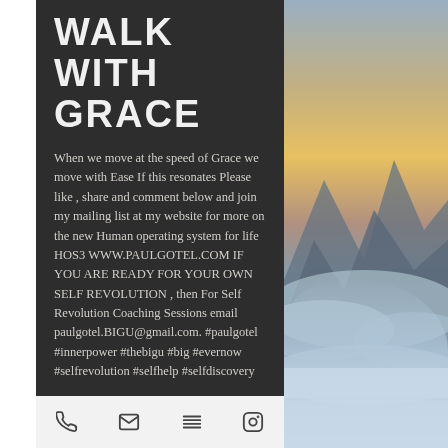WALK WITH GRACE
When we move at the speed of Grace we move with Ease If this resonates Please like , share and comment below and join my mailing list at my website for more on the new Human operating system for life HOS3 WWW.PAULGOTEL.COM IF YOU ARE READY FOR YOUR OWN SELF REVOLUTION , then For Self Revolution Coaching Sessions email paulgotel.BIGU@gmail.com. #paulgotel #innerpower #thebigu #big #evernow #selfrevolution #selfhelp #selfdiscovery
Phone | Email | Menu | Instagram